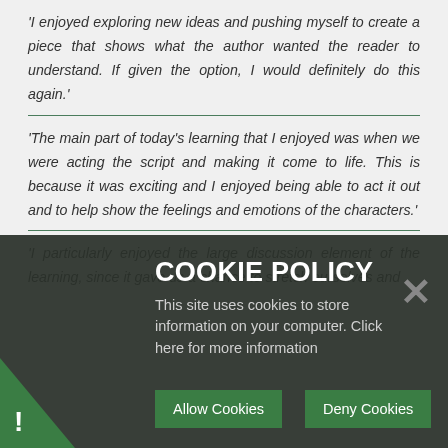‘I enjoyed exploring new ideas and pushing myself to create a piece that shows what the author wanted the reader to understand. If given the option, I would definitely do this again.’
‘The main part of today’s learning that I enjoyed was when we were acting the script and making it come to life. This is because it was exciting and I enjoyed being able to act it out and to help show the feelings and emotions of the characters.’
‘I particularly enjoyed the large discussion element of the learning, since it gave us a chance to stretch ourselves and think…’
[Figure (screenshot): Cookie policy banner overlay with dark background. Title: COOKIE POLICY. Body text: This site uses cookies to store information on your computer. Click here for more information. Two buttons: Allow Cookies and Deny Cookies. Close X button top right. Green triangle with exclamation mark bottom left.]